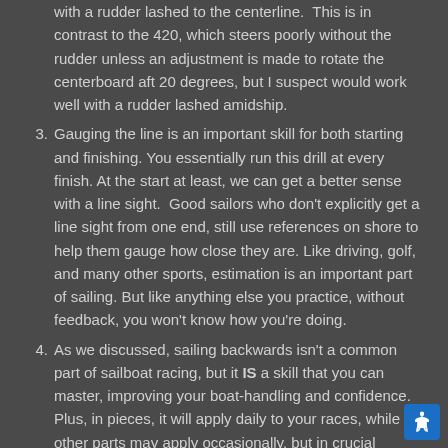with a rudder lashed to the centerline.  This is in contrast to the 420, which steers poorly without the rudder unless an adjustment is made to rotate the centerboard aft 20 degrees, but I suspect would work well with a rudder lashed amidship.
3. Gauging the line is an important skill for both starting and finishing. You essentially run this drill at every finish. At the start at least, we can get a better sense with a line sight.  Good sailors who don't explicitly get a line sight from one end, still use references on shore to help them gauge how close they are. Like driving, golf, and many other sports, estimation is an important part of sailing. But like anything else you practice, without feedback, you won't know how you're doing.
4. As we discussed, sailing backwards isn't a common part of sailboat racing, but it IS a skill that you can master, improving your boat-handling and confidence. Plus, in pieces, it will apply daily to your races, while other parts may apply occasionally, but in crucial situations. There